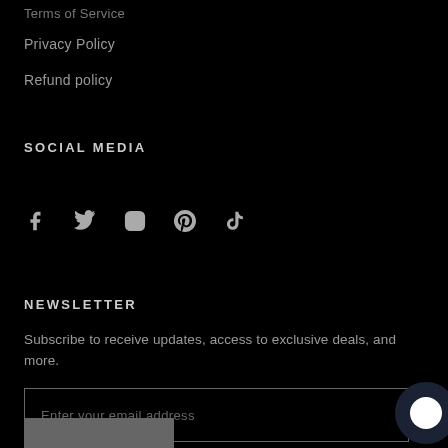Privacy Policy
Refund policy
SOCIAL MEDIA
[Figure (infographic): Social media icons: Facebook, Twitter, Instagram, Pinterest, TikTok]
NEWSLETTER
Subscribe to receive updates, access to exclusive deals, and more.
Enter your email address